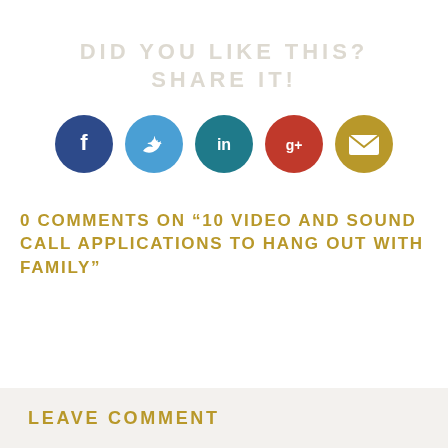DID YOU LIKE THIS? SHARE IT!
[Figure (infographic): Five social share buttons in circles: Facebook (dark blue), Twitter (light blue), LinkedIn (teal), Google+ (red), Email (gold)]
0 COMMENTS ON “10 VIDEO AND SOUND CALL APPLICATIONS TO HANG OUT WITH FAMILY”
LEAVE COMMENT